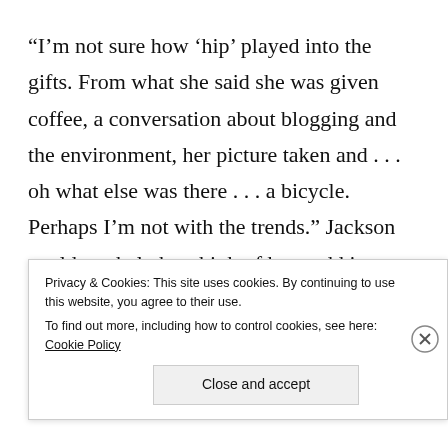“I’m not sure how ‘hip’ played into the gifts. From what she said she was given coffee, a conversation about blogging and the environment, her picture taken and . . . oh what else was there . . . a bicycle. Perhaps I’m not with the trends.” Jackson could not help but think of how odd it was for someone else to have almost exact interactions that he himself had had with
Annahel. But this was a new life for Jackson and he
Privacy & Cookies: This site uses cookies. By continuing to use this website, you agree to their use.
To find out more, including how to control cookies, see here: Cookie Policy
Close and accept